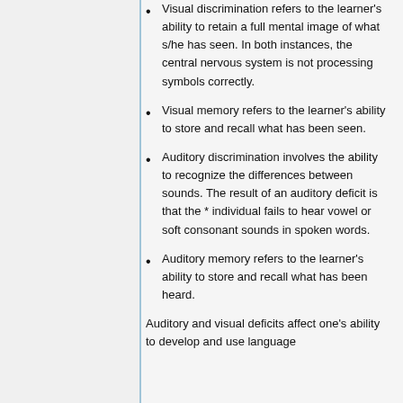Visual discrimination refers to the learner's ability to retain a full mental image of what s/he has seen. In both instances, the central nervous system is not processing symbols correctly.
Visual memory refers to the learner's ability to store and recall what has been seen.
Auditory discrimination involves the ability to recognize the differences between sounds. The result of an auditory deficit is that the * individual fails to hear vowel or soft consonant sounds in spoken words.
Auditory memory refers to the learner's ability to store and recall what has been heard.
Auditory and visual deficits affect one's ability to develop and use language